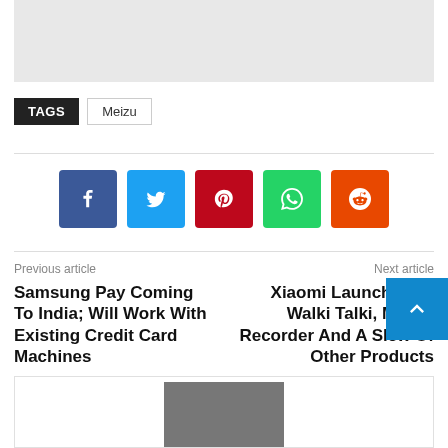[Figure (photo): Gray placeholder image at top of page]
TAGS  Meizu
[Figure (infographic): Social media share buttons: Facebook, Twitter, Pinterest, WhatsApp, Reddit]
Previous article
Samsung Pay Coming To India; Will Work With Existing Credit Card Machines
Next article
Xiaomi Launches Mi Walki Talki, Mi Car Recorder And A Slew Of Other Products
[Figure (photo): Partial photo visible at bottom of page inside article preview box]